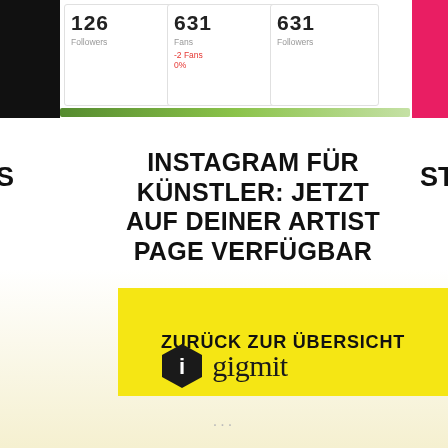[Figure (screenshot): Top stat cards showing follower/fan counts: '126 Followers', '631 Fans (-2 Fans, 0%)', '631 Followers', with a green progress bar below, and a dark photo on the left and red block on the right]
INSTAGRAM FÜR KÜNSTLER: JETZT AUF DEINER ARTIST PAGE VERFÜGBAR
STR (partially visible on right edge)
S (partially visible on left edge)
ZURÜCK ZUR ÜBERSICHT
[Figure (logo): Gigmit logo: black hexagon icon with white 'i' letter and 'gigmit' text in serif font]